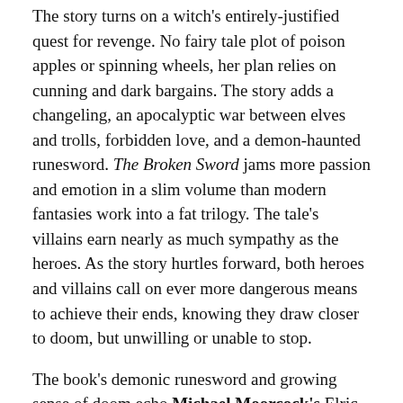The story turns on a witch's entirely-justified quest for revenge. No fairy tale plot of poison apples or spinning wheels, her plan relies on cunning and dark bargains. The story adds a changeling, an apocalyptic war between elves and trolls, forbidden love, and a demon-haunted runesword. The Broken Sword jams more passion and emotion in a slim volume than modern fantasies work into a fat trilogy. The tale's villains earn nearly as much sympathy as the heroes. As the story hurtles forward, both heroes and villains call on ever more dangerous means to achieve their ends, knowing they draw closer to doom, but unwilling or unable to stop.
The book's demonic runesword and growing sense of doom echo Michael Moorcock's Elric saga because The Broken Sword provided half of Moorcock's inspiration for Elric, and set the tone for Moorcock's other fantasies. (The second half of Elric's inspiration came from the notion of reversing Conan's qualities, turning a mighty, barbarian warrior into a sickly, ultra-civilized sorcerer.)